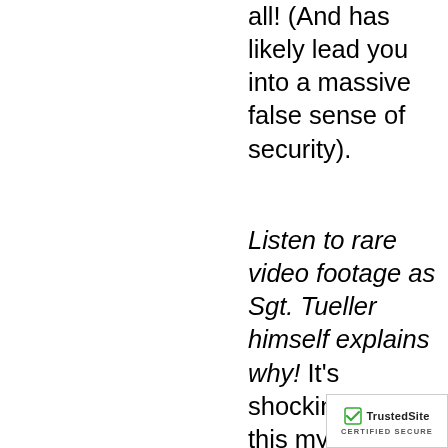all! (And has likely lead you into a massive false sense of security).
Listen to rare video footage as Sgt. Tueller himself explains why! It's shocking how this myth ever began... and how today it's still taught in classes worldwide!
How to gain the critical seconds necessary to access your gun in extreme close quarters. As all the
[Figure (illustration): Blue rounded-square mail/email icon with white envelope symbol]
[Figure (logo): TrustedSite CERTIFIED SECURE badge with green checkmark]